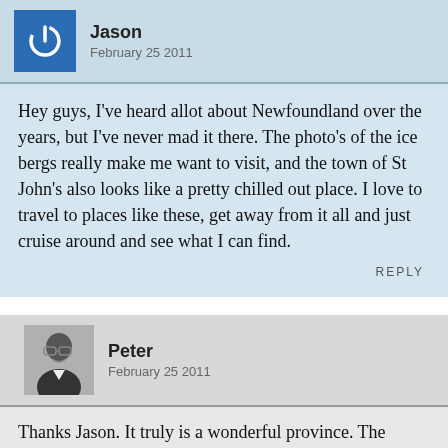Jason
February 25 2011
Hey guys, I've heard allot about Newfoundland over the years, but I've never mad it there. The photo's of the ice bergs really make me want to visit, and the town of St John's also looks like a pretty chilled out place. I love to travel to places like these, get away from it all and just cruise around and see what I can find.
REPLY
Peter
February 25 2011
Thanks Jason. It truly is a wonderful province. The people, the scenery, the food, and yes the bergs are spectacular. STJ is totally chilled out, probably one of